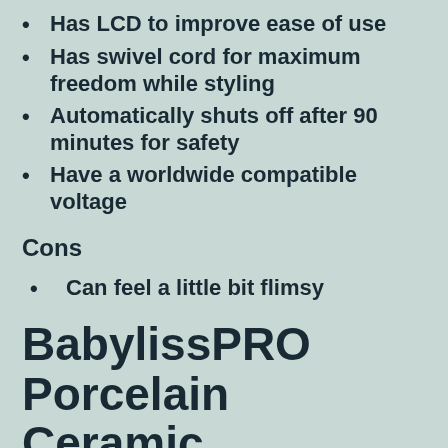Has LCD to improve ease of use
Has swivel cord for maximum freedom while styling
Automatically shuts off after 90 minutes for safety
Have a worldwide compatible voltage
Cons
Can feel a little bit flimsy
BabylissPRO Porcelain Ceramic Straightening Iron